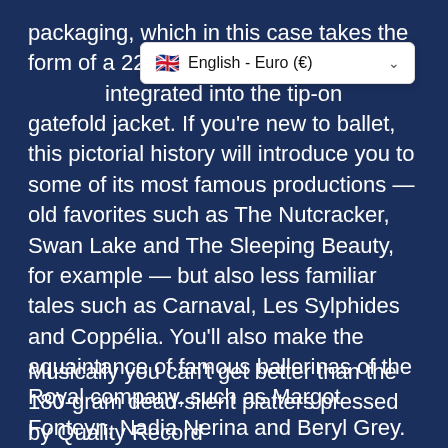packaging, which in this case takes the form of a 22-page lavishly illustrated booklet integrated into the tip-on gatefold jacket. If you're new to ballet, this pictorial history will introduce you to some of its most famous productions — old favorites such as The Nutcracker, Swan Lake and The Sleeping Beauty, for example — but also less familiar tales such as Carnaval, Les Sylphides and Coppélia. You'll also make the aquaintance of famous ballerinas of the Royal company, such as Margot Fonteyn, Nadia Nerina and Beryl Grey. as well as choreographers such as Jules Perrot and male dancers Alexis Rassine and Michael Somes.
[Figure (screenshot): Dropdown overlay showing UK flag emoji followed by 'English - Euro (€)' with a chevron/arrow indicating a dropdown selector]
Musically you can't get better than the 180-gram dead-silent platters pressed by Quality Record